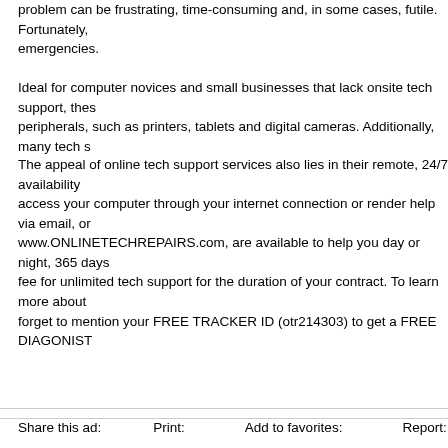problem can be frustrating, time-consuming and, in some cases, futile. Fortunately, emergencies.
Ideal for computer novices and small businesses that lack onsite tech support, thes peripherals, such as printers, tablets and digital cameras. Additionally, many tech s
The appeal of online tech support services also lies in their remote, 24/7 availability access your computer through your internet connection or render help via email, or www.ONLINETECHREPAIRS.com, are available to help you day or night, 365 days fee for unlimited tech support for the duration of your contract. To learn more about forget to mention your FREE TRACKER ID (otr214303) to get a FREE DIAGONIST
Share this ad:    Print:    Add to favorites:    Report: